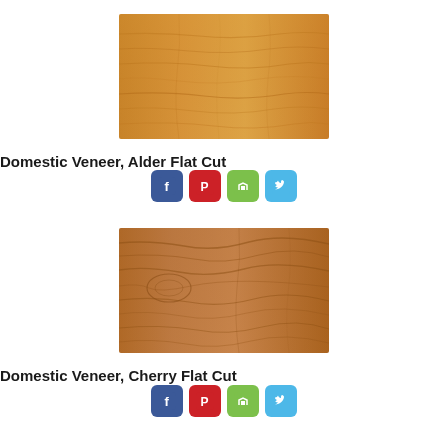[Figure (photo): Wood veneer sample - Alder Flat Cut, light golden-brown wood grain texture]
Domestic Veneer, Alder Flat Cut
[Figure (infographic): Social sharing icons: Facebook, Pinterest, Houzz, Twitter]
[Figure (photo): Wood veneer sample - Cherry Flat Cut, medium warm brown wood grain texture]
Domestic Veneer, Cherry Flat Cut
[Figure (infographic): Social sharing icons: Facebook, Pinterest, Houzz, Twitter]